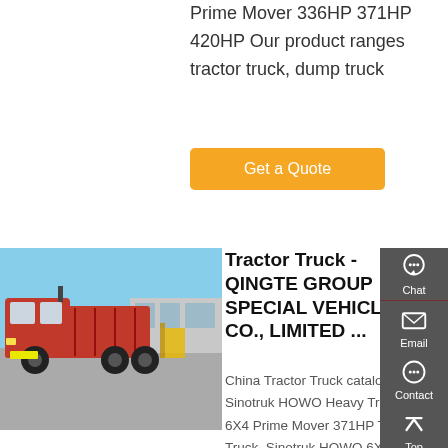Prime Mover 336HP 371HP 420HP Our product ranges tractor truck, dump truck
Get a Quote
[Figure (photo): Red Sinotruk HOWO tractor truck parked outdoors in front of a building, with a blue sky background and warehouse in the background.]
Tractor Truck - QINGTE GROUP SPECIAL VEHICLE CO., LIMITED ...
China Tractor Truck catalog of Sinotruk HOWO Heavy Truck 6X4 Prime Mover 371HP Tractor Truck, Sinotruk HOWO 6X4 RHD 371hp Tractor Truck For Mozambique provided by China